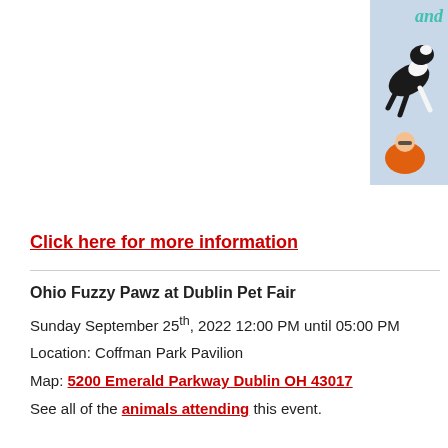[Figure (photo): Partial view of a dog jumping or leaping in the air against a light blue sky, with a person in orange jacket visible below. Partial teal cursive text 'and' visible in top right corner.]
Click here for more information
Ohio Fuzzy Pawz at Dublin Pet Fair
Sunday September 25th, 2022 12:00 PM until 05:00 PM
Location: Coffman Park Pavilion
Map: 5200 Emerald Parkway Dublin OH 43017
See all of the animals attending this event.